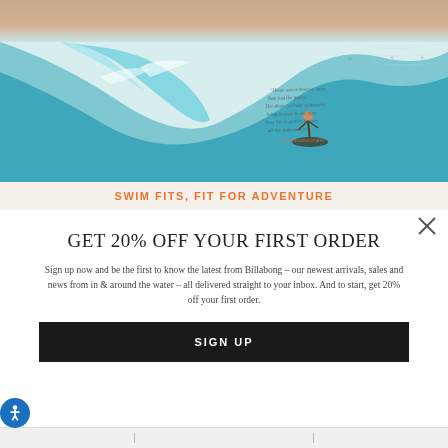[Figure (photo): Billabong swimwear advertisement showing a surfer riding a large wave with a quote overlay and sandy/skin tone strip at top]
SWIM FITS, FIT FOR ADVENTURE
GET 20% OFF YOUR FIRST ORDER
Sign up now and be the first to know the latest from Billabong – our newest arrivals, sales and news from in & around the water – all delivered straight to your inbox. And to start, get 20% off your first order.
SIGN UP